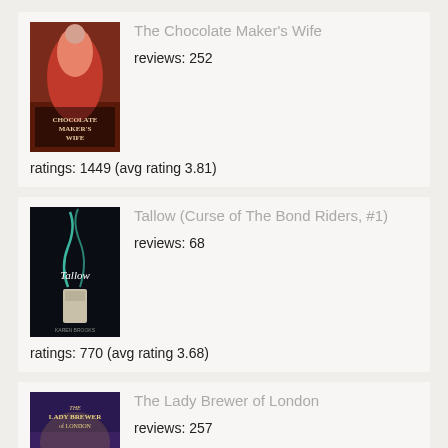[Figure (illustration): Book cover for The Chocolate Maker's Wife]
The Chocolate Maker's Wife
reviews: 252
ratings: 1449 (avg rating 3.81)
[Figure (illustration): Book cover for Tallow (Curse of The Bond Riders, #1)]
Tallow (Curse of The Bond Riders, #1)
reviews: 68
ratings: 770 (avg rating 3.68)
[Figure (illustration): Book cover for The Lady Brewer of London]
The Lady Brewer of London
reviews: 257
ratings: 1204 (avg rating 3.95)